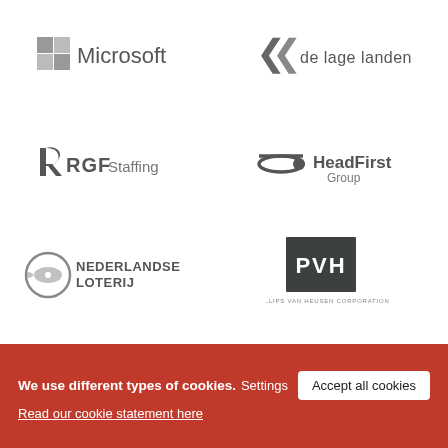[Figure (logo): Microsoft logo in grayscale — four colored squares arranged in 2x2 grid followed by 'Microsoft' text]
[Figure (logo): de lage landen logo in grayscale — stylized chevron icon followed by 'de lage landen' text]
[Figure (logo): RGF Staffing logo in grayscale — stylized R letter followed by 'RGF Staffing' text]
[Figure (logo): HeadFirst Group logo in grayscale — swoosh with dot icon followed by 'HeadFirst Group' text]
[Figure (logo): Nederlandse Loterij logo in grayscale — circular fish emblem followed by 'NEDERLANDSE LOTERIJ' text]
[Figure (logo): PVH logo in grayscale — dark square with 'PVH' text and 'PHILLIPS VAN HEUSEN CORPORATION' below]
We use different types of cookies.
Read our cookie statement here
Settings
Accept all cookies